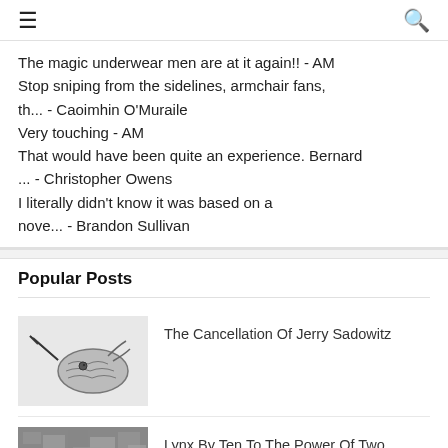≡  🔍
The magic underwear men are at it again!! - AM
Stop sniping from the sidelines, armchair fans, th... - Caoimhin O'Muraile
Very touching - AM
That would have been quite an experience. Bernard ... - Christopher Owens
I literally didn&#39;t know it was based on a nove... - Brandon Sullivan
Popular Posts
The Cancellation Of Jerry Sadowitz
[Figure (illustration): Black and white illustration of a hand or creature with a sharp beak or sword-like appendage]
Lynx By Ten To The Power Of Two Hundred And Ninety Six
[Figure (photo): Black and white grainy/textured photo, possibly of an animal or natural texture]